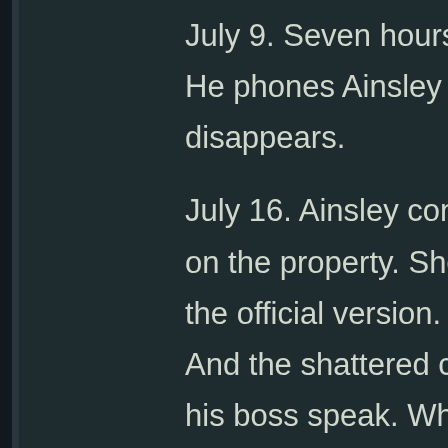July 9. Seven hours after the story is rejected, Capta... He phones Ainsley and tells her the resignation was ... disappears.
July 16. Ainsley contacts Segundo Vasquez. But he w... on the property. She goes to the Sheriff's office and s... the official version. He had seen everything Hawking... And the shattered craft was a weather balloon. McKa... his boss speak. When Ainsley turns to Ten-Samsons... won't confirm. He won't deny. He won't open his mou... him in a local bar. He's silent. She presses. Finally, h... you. I have a son that I love." He leaves the bar. Ains...
But Trish Ainsley continues to pursue the story, to the... as a journalist. Years pass, but she tracks down ever... in Roswell, New Mexico. Most won't talk to her, and t... on the record. But she begins to piece it together.
March 10, 1955. Following up on an anonymous tip, ... MAJOR MICHAEL TYLER, who claims to have seen ... aliens.
June 4, 1961. ...